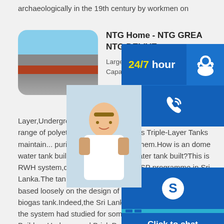archaeologically in the 19th century by workmen on
[Figure (photo): Thumbnail image of large industrial storage tanks outdoors, with blue sky background, rounded corners]
NTG Home - NTG GREA... NTG DELIVE...
Large Capacity - T... Capacity - One La... Layer,Underground - Double Layer Nass... offers the largest range of polyethylene t... region.NTGs Triple-Layer Tanks maintain... purity of the water inside them.How is an... dome water tank built?How is an underg... water tank built?This is RWH system,developed by the CWSSP programme in Sri Lanka.The tank,a 5m 3 underground brick built tank,is based loosely on the design of the Chinese below ground biogas tank.Indeed,the Sri Lankan engineer who designed the system had studied for some years in China.How to Build an Underground Brick Dome Water Tank - Howtopedia - e
[Figure (infographic): Blue floating widget panel with 24/7 hour banner, phone icon, Skype icon, customer service photo, and Click to chat button]